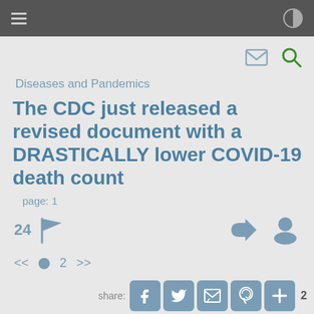☰  [contrast icon]
Diseases and Pandemics
The CDC just released a revised document with a DRASTICALLY lower COVID-19 death count
page: 1
24 [flag icon] [arrow-in icon] [user icon]
<< ● 2 >>
share: [facebook] [twitter] [email] [pinterest] [+]  2